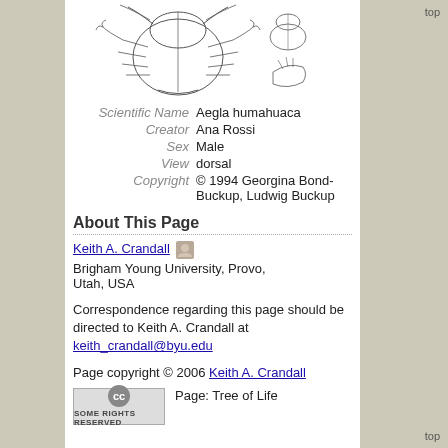[Figure (illustration): Scientific illustration of Aegla humahuaca (arthropod/crustacean), dorsal view, showing carapace and appendages, with detail views on the right side]
| Scientific Name | Aegla humahuaca |
| Creator | Ana Rossi |
| Sex | Male |
| View | dorsal |
| Copyright | © 1994 Georgina Bond-Buckup, Ludwig Buckup |
About This Page
Keith A. Crandall
Brigham Young University, Provo, Utah, USA
Correspondence regarding this page should be directed to Keith A. Crandall at keith_crandall@byu.edu
Page copyright © 2006 Keith A. Crandall
Page: Tree of Life